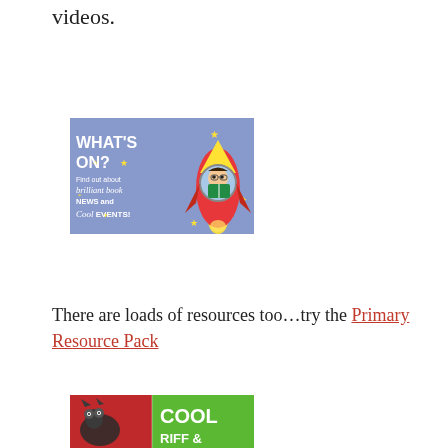videos.
[Figure (illustration): What's On? Find out about brilliant book NEWS and Cool EVENTS! — illustrated banner with a rocket ship and child reading, on purple background]
There are loads of resources too…try the Primary Resource Pack
[Figure (illustration): Partial view of a 'Cool' themed banner/book cover with green and red sections, partially cropped]